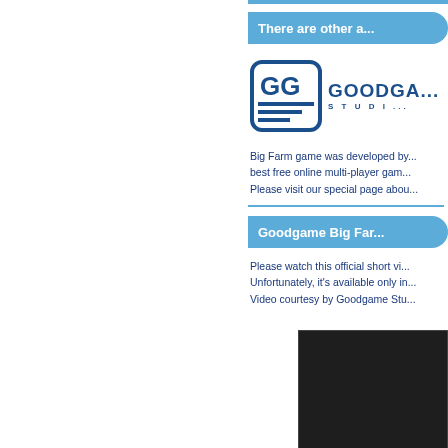There are other a...
[Figure (logo): Goodgame Studios logo with GG icon and text GOODGAME STUDIOS]
Big Farm game was developed by... best free online multi-player gam... Please visit our special page abou...
Goodgame Big Far...
Please watch this official short vi... Unfortunately, it's available only in... Video courtesy by Goodgame Stu...
[Figure (screenshot): Dark video thumbnail placeholder]